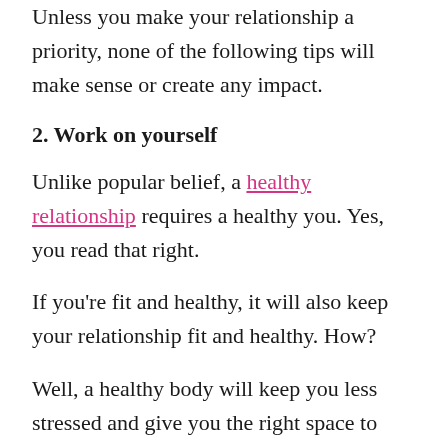Unless you make your relationship a priority, none of the following tips will make sense or create any impact.
2. Work on yourself
Unlike popular belief, a healthy relationship requires a healthy you. Yes, you read that right.
If you're fit and healthy, it will also keep your relationship fit and healthy. How?
Well, a healthy body will keep you less stressed and give you the right space to think clearly... which further will allow you